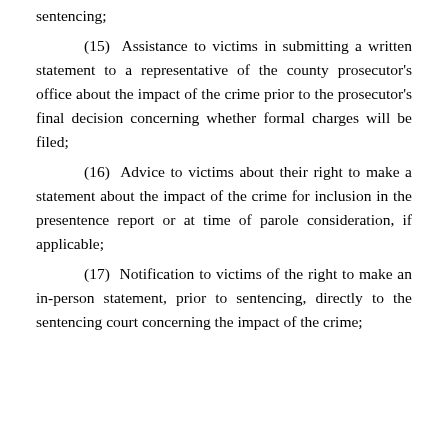sentencing;
(15) Assistance to victims in submitting a written statement to a representative of the county prosecutor's office about the impact of the crime prior to the prosecutor's final decision concerning whether formal charges will be filed;
(16) Advice to victims about their right to make a statement about the impact of the crime for inclusion in the presentence report or at time of parole consideration, if applicable;
(17) Notification to victims of the right to make an in-person statement, prior to sentencing, directly to the sentencing court concerning the impact of the crime;